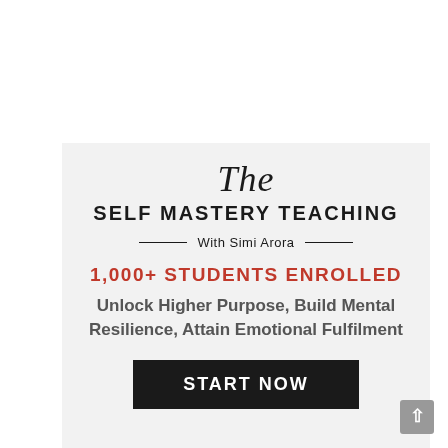The SELF MASTERY TEACHING
With Simi Arora
1,000+ STUDENTS ENROLLED
Unlock Higher Purpose, Build Mental Resilience, Attain Emotional Fulfilment
START NOW